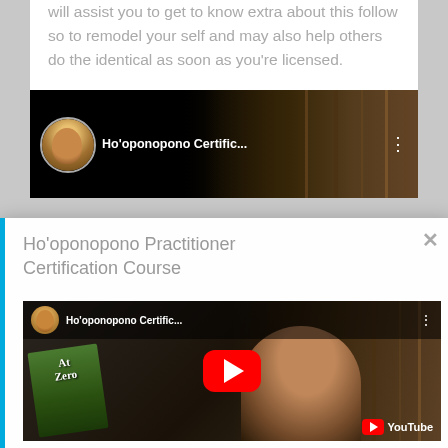will assist you to get to know extra about this follow so to remodel your self and may also help others do the identical as soon as you're licensed.
[Figure (screenshot): YouTube video thumbnail for Ho'oponopono Certific... showing a person avatar and bookshelf background with dark theme]
[Figure (screenshot): Modal popup with blue left border showing Ho'oponopono Practitioner Certification Course title and embedded YouTube video player with play button. The video shows a person holding a book 'At Zero' with YouTube branding in bottom right. A close (x) button appears top right.]